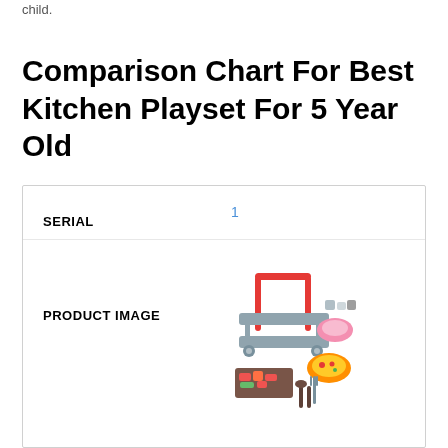child.
Comparison Chart For Best Kitchen Playset For 5 Year Old
| SERIAL | PRODUCT IMAGE |
| --- | --- |
| 1 | [product image] |